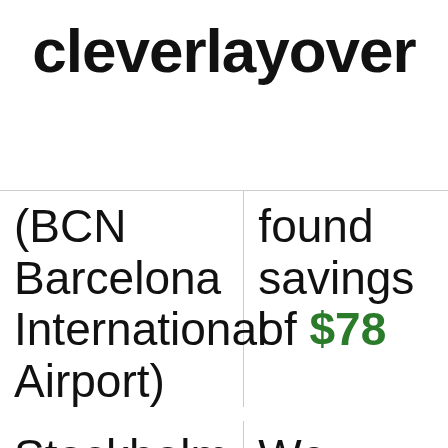cleverlayover
| Destination | Deal |
| --- | --- |
| (BCN Barcelona International Airport) | found savings of $78... |
| Stockholm, Sweden | We recently found... |